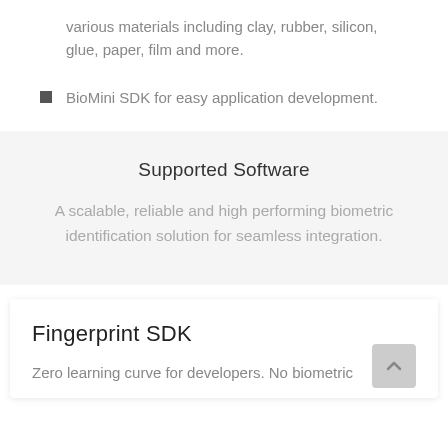various materials including clay, rubber, silicon, glue, paper, film and more.
BioMini SDK for easy application development.
Supported Software
A scalable, reliable and high performing biometric identification solution for seamless integration.
Fingerprint SDK
Zero learning curve for developers. No biometric